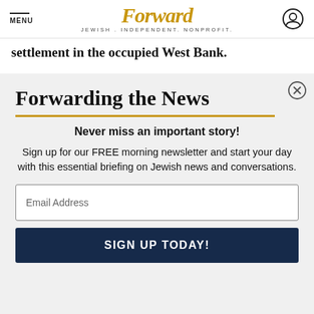MENU | Forward JEWISH. INDEPENDENT. NONPROFIT.
settlement in the occupied West Bank.
Forwarding the News
Never miss an important story!
Sign up for our FREE morning newsletter and start your day with this essential briefing on Jewish news and conversations.
Email Address
SIGN UP TODAY!